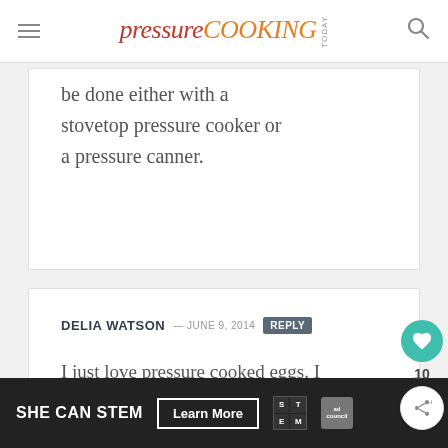pressure COOKING TODAY
be done either with a stovetop pressure cooker or a pressure canner.
DELIA WATSON — JUNE 9, 2014 REPLY
I just love pressure cooked eggs. I use my baby bottle steam sterilizer basket on top of the rack supplied with the pressure cooker. The basket keeps the eggs leveled it
[Figure (other): SHE CAN STEM advertisement banner with Learn More button, STEM logo, and Ad Council logo]